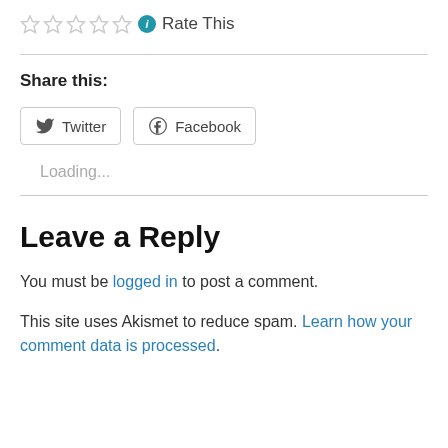[Figure (other): Five star rating icons (empty/grey stars) followed by a teal info icon and 'Rate This' text]
Share this:
[Figure (other): Two social share buttons: Twitter and Facebook]
Loading...
Leave a Reply
You must be logged in to post a comment.
This site uses Akismet to reduce spam. Learn how your comment data is processed.